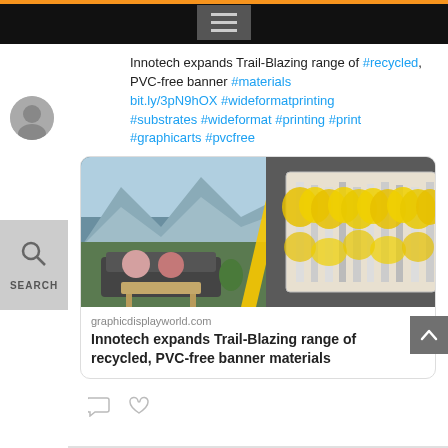[Figure (screenshot): Top navigation bar with hamburger menu icon on dark background with orange stripe]
Innotech expands Trail-Blazing range of #recycled, PVC-free banner #materials bit.ly/3pN9hOX #wideformatprinting #substrates #wideformat #printing #print #graphicarts #pvcfree
[Figure (photo): Split image showing a living room with mountain mural wallpaper on the left and a yellow autumn tree painting on the right]
graphicdisplayworld.com
Innotech expands Trail-Blazing range of recycled, PVC-free banner materials